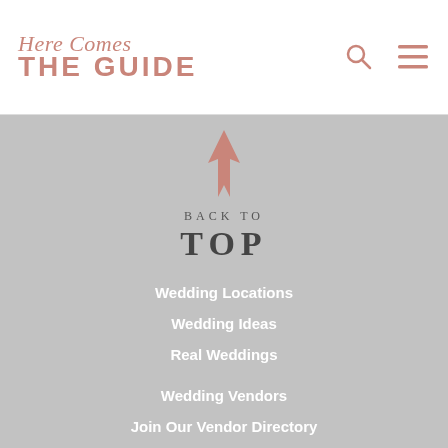Here Comes THE GUIDE
[Figure (logo): Here Comes the Guide logo with pink upward arrow icon, BACK TO TOP text]
Wedding Locations
Wedding Ideas
Real Weddings
Wedding Vendors
Join Our Vendor Directory
MyGuide
Wedding Shows